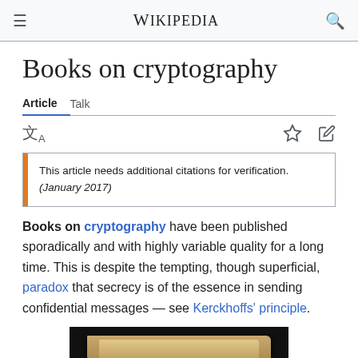≡  WIKIPEDIA  🔍
Books on cryptography
Article   Talk
This article needs additional citations for verification. (January 2017)
Books on cryptography have been published sporadically and with highly variable quality for a long time. This is despite the tempting, though superficial, paradox that secrecy is of the essence in sending confidential messages — see Kerckhoffs' principle.
[Figure (photo): A photograph of an old book on cryptography, shown open on a dark background.]